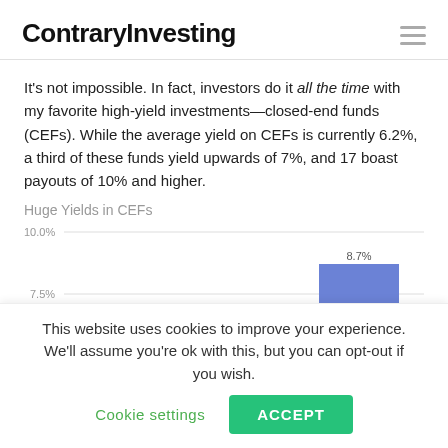ContraryInvesting
It’s not impossible. In fact, investors do it all the time with my favorite high-yield investments—closed-end funds (CEFs). While the average yield on CEFs is currently 6.2%, a third of these funds yield upwards of 7%, and 17 boast payouts of 10% and higher.
[Figure (bar-chart): Partial bar chart showing CEF yields. Y-axis shows 7.5% and 10.0% gridlines. One bar visible at 8.7% (blue/purple).]
This website uses cookies to improve your experience. We’ll assume you’re ok with this, but you can opt-out if you wish.
Cookie settings
ACCEPT